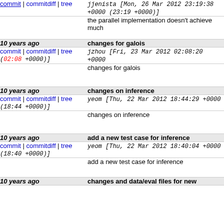commit | commitdiff | tree   jjenista [Mon, 26 Mar 2012 23:19:38 +0000 (23:19 +0000)]
the parallel implementation doesn't achieve much
10 years ago   changes for galois
commit | commitdiff | tree   jzhou [Fri, 23 Mar 2012 02:08:20 +0000 (02:08 +0000)]
changes for galois
10 years ago   changes on inference
commit | commitdiff | tree   yeom [Thu, 22 Mar 2012 18:44:29 +0000 (18:44 +0000)]
changes on inference
10 years ago   add a new test case for inference
commit | commitdiff | tree   yeom [Thu, 22 Mar 2012 18:40:04 +0000 (18:40 +0000)]
add a new test case for inference
10 years ago   changes and data/eval files for new evaluations